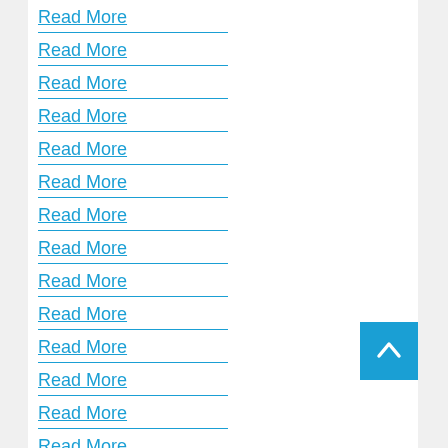Read More
Read More
Read More
Read More
Read More
Read More
Read More
Read More
Read More
Read More
Read More
Read More
Read More
Read More
Read More
Read More
Read More
Read More